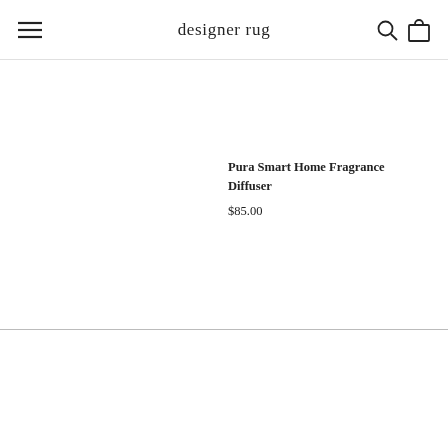designer rug
Pura Smart Home Fragrance Diffuser
$85.00